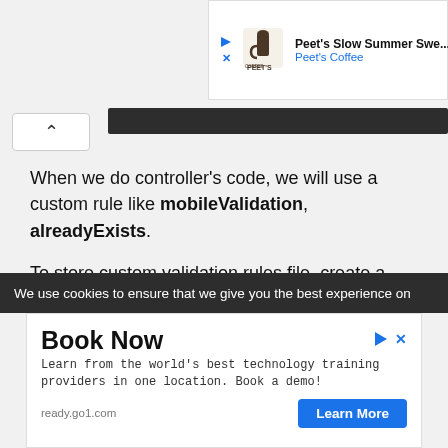[Figure (screenshot): Top advertisement banner for Peet's Coffee - Peet's Slow Summer Swe... with Peets logo]
[Figure (screenshot): Dark code bar with collapse/chevron button on left]
When we do controller's code, we will use a custom rule like mobileValidation, alreadyExists.
To store custom validation rules file, create a folder Validation in /app directory.
Let's create a file with the name of MobileRules.php in /app/Validation folder.
We use cookies to ensure that we give you the best experience on
[Figure (screenshot): Bottom advertisement - Book Now. Learn from the world's best technology training providers in one location. Book a demo! ready.go1.com with Learn More button]